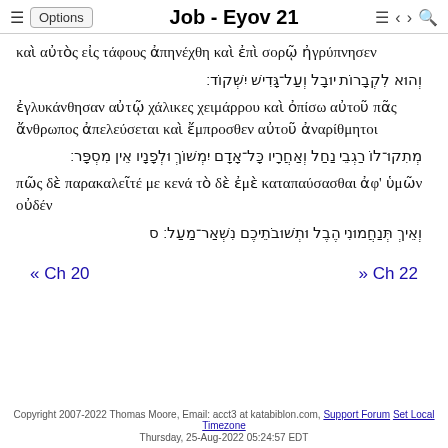Job - Eyov 21
καὶ αὐτὸς εἰς τάφους ἀπηνέχθη καὶ ἐπὶ σορῷ ἠγρύπνησεν
וְהוּא לִקְבָרוֹת יוּבָל וְעַל־גָּדִישׁ יִשְׁקוֹד׃
ἐγλυκάνθησαν αὐτῷ χάλικες χειμάρρου καὶ ὀπίσω αὐτοῦ πᾶς ἄνθρωπος ἀπελεύσεται καὶ ἔμπροσθεν αὐτοῦ ἀναρίθμητοι
מְתִקוּ־לוֹ רַגְבֵי נַחַל וְאַחֲרָיו כָּל־אָדָם יִמְשׁוֹךְ וּלְפָנָיו אֵין מִסְפָּר׃
πῶς δὲ παρακαλεῖτέ με κενά τὸ δὲ ἐμὲ καταπαύσασθαι ἀφ' ὑμῶν οὐδέν
וְאֵיךְ תְּנַחֲמוּנִי הֶבֶל וּתְשׁוּבֹתֵיכֶם נִשְׁאַר־מַעַל׃ ס
« Ch 20    » Ch 22
Copyright 2007-2022 Thomas Moore, Email: acct3 at katabiblon.com, Support Forum Set Local Timezone
Thursday, 25-Aug-2022 05:24:57 EDT